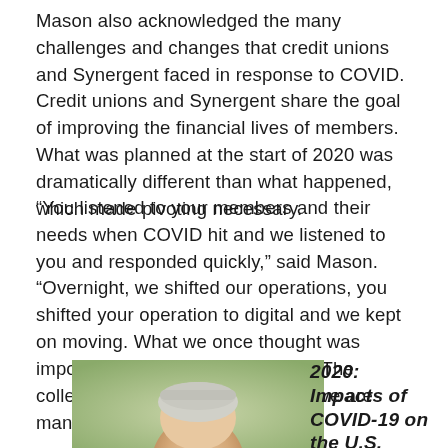Mason also acknowledged the many challenges and changes that credit unions and Synergent faced in response to COVID. Credit unions and Synergent share the goal of improving the financial lives of members. What was planned at the start of 2020 was dramatically different than what happened, which made pivoting necessary.
“You listened to your members and their needs when COVID hit and we listened to you and responded quickly,” said Mason. “Overnight, we shifted our operations, you shifted your operation to digital and we kept on moving. What we once thought was impossible now seems inevitable. The collective accomplishments we have are many.”
[Figure (photo): A close-up photo of a person's head and upper face, with blurred natural background in green and brown tones.]
2020: Impacts of COVID-19 on the U.S. Economy, the Upcoming